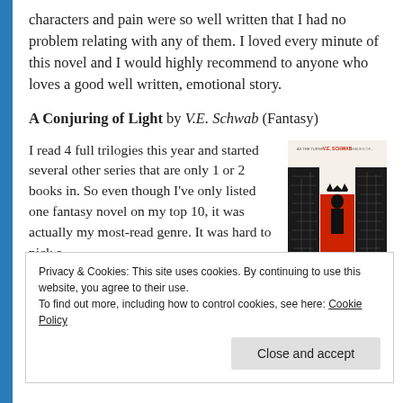characters and pain were so well written that I had no problem relating with any of them. I loved every minute of this novel and I would highly recommend to anyone who loves a good well written, emotional story.
A Conjuring of Light by V.E. Schwab (Fantasy)
I read 4 full trilogies this year and started several other series that are only 1 or 2 books in. So even though I've only listed one fantasy novel on my top 10, it was actually my most-read genre. It was hard to pick a
[Figure (illustration): Book cover of A Conjuring of Light by V.E. Schwab — black and white illustration of a figure in a red chair with city map backgrounds, red and black design.]
Privacy & Cookies: This site uses cookies. By continuing to use this website, you agree to their use.
To find out more, including how to control cookies, see here: Cookie Policy